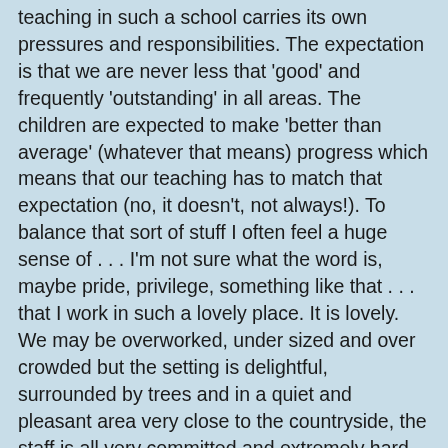teaching in such a school carries its own pressures and responsibilities.  The expectation is that we are never less that 'good' and frequently 'outstanding' in all areas.  The children are expected to make 'better than average' (whatever that means) progress which means that our teaching has to match that expectation (no, it doesn't, not always!).  To balance that sort of stuff I often feel a huge sense of . . . I'm not sure what the word is,  maybe pride, privilege, something like that . . . that I work in such a lovely place.  It is lovely.  We may be overworked, under sized and over crowded but the setting is delightful, surrounded by trees and in a quiet and pleasant area very close to the countryside, the staff is all very committed and extremely hard working, the leadership is strong but also very empathic, understanding and supportive . .  I could go on but you get the idea.
Small wonder, then, that despite all the irrelevant nonsense that surrounds teaching nowadays, I really don't want to retire, not yet.  Definitely not yet!
As for yesterday - all in all it was a super day!